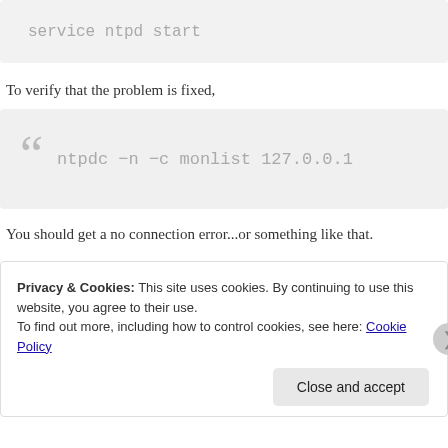service ntpd start
To verify that the problem is fixed,
ntpdc -n -c monlist 127.0.0.1
You should get a no connection error...or something like that.
Privacy & Cookies: This site uses cookies. By continuing to use this website, you agree to their use.
To find out more, including how to control cookies, see here: Cookie Policy
Close and accept